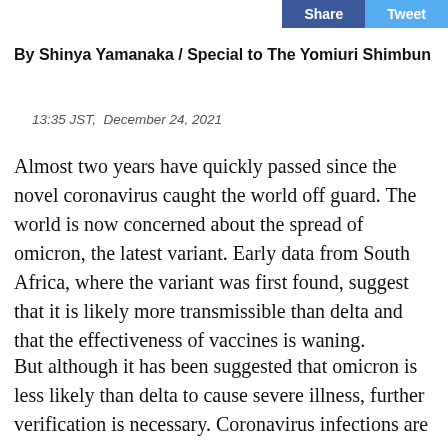Share  Tweet
By Shinya Yamanaka / Special to The Yomiuri Shimbun
13:35 JST,  December 24, 2021
Almost two years have quickly passed since the novel coronavirus caught the world off guard. The world is now concerned about the spread of omicron, the latest variant. Early data from South Africa, where the variant was first found, suggest that it is likely more transmissible than delta and that the effectiveness of vaccines is waning.
But although it has been suggested that omicron is less likely than delta to cause severe illness, further verification is necessary. Coronavirus infections are